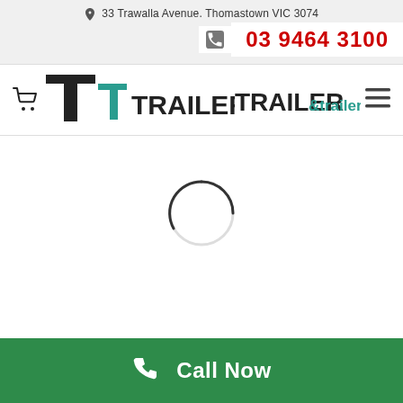📍 33 Trawalla Avenue. Thomastown VIC 3074
03 9464 3100
[Figure (logo): Trailer & trailers company logo with stylized T letters in black and teal]
[Figure (other): Loading spinner animation indicator]
Call Now